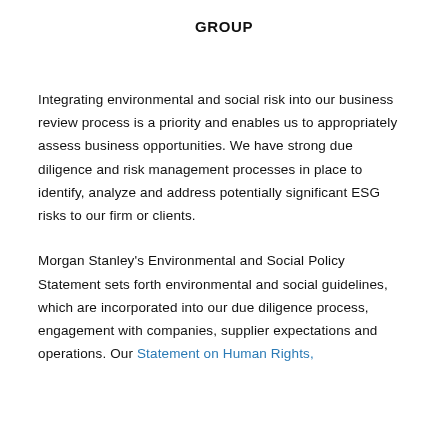GROUP
Integrating environmental and social risk into our business review process is a priority and enables us to appropriately assess business opportunities. We have strong due diligence and risk management processes in place to identify, analyze and address potentially significant ESG risks to our firm or clients.
Morgan Stanley's Environmental and Social Policy Statement sets forth environmental and social guidelines, which are incorporated into our due diligence process, engagement with companies, supplier expectations and operations. Our Statement on Human Rights,